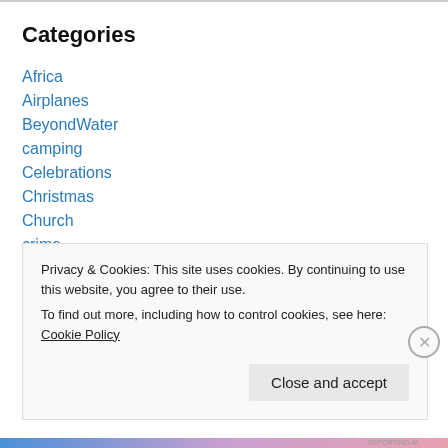Categories
Africa
Airplanes
BeyondWater
camping
Celebrations
Christmas
Church
crime
culture shock
development work
Privacy & Cookies: This site uses cookies. By continuing to use this website, you agree to their use.
To find out more, including how to control cookies, see here: Cookie Policy
Close and accept